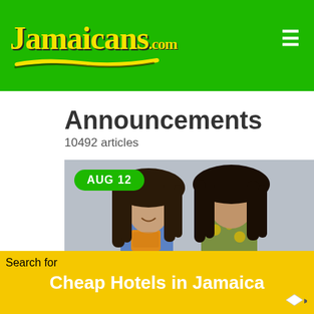[Figure (logo): Jamaicans.com logo on green background with yellow handwritten style text and underline brushstroke]
Announcements
10492 articles
[Figure (photo): Two men with long dreadlocks, one in blue denim shirt and yellow top, one in yellow floral jacket, against grey background. Green date badge says AUG 12]
Search for
Cheap Hotels in Jamaica